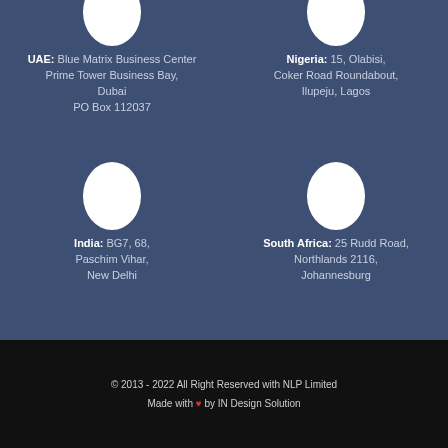[Figure (illustration): White oval/person silhouette placeholder for UAE office]
UAE: Blue Matrix Business Center
Prime Tower Business Bay, Dubai
PO Box 112037
[Figure (illustration): White oval/person silhouette placeholder for Nigeria office]
Nigeria: 15, Olabisi, Coker Road Roundabout, Ilupeju, Lagos
[Figure (illustration): White oval/person silhouette placeholder for India office]
India: BG7, 68, Paschim Vihar, New Delhi
[Figure (illustration): White oval/person silhouette placeholder for South Africa office]
South Africa: 25 Rudd Road, Northlands 2116, Johannesburg
© 2013 - 2022 All Right Reserved with NLP Limited
Made with ♥ by IN Design Solution